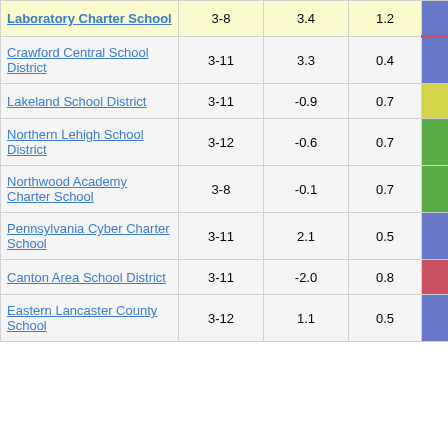| School/District | Grades | Col3 | Col4 | Score |
| --- | --- | --- | --- | --- |
| Laboratory Charter School | 3-8 | 3.4 | 1.2 | 2.86 |
| Crawford Central School District | 3-11 | 3.3 | 0.4 | 7.81 |
| Lakeland School District | 3-11 | -0.9 | 0.7 | -1.28 |
| Northern Lehigh School District | 3-12 | -0.6 | 0.7 | -0.88 |
| Northwood Academy Charter School | 3-8 | -0.1 | 0.7 | -0.12 |
| Pennsylvania Cyber Charter School | 3-11 | 2.1 | 0.5 | 4.24 |
| Canton Area School District | 3-11 | -2.0 | 0.8 | -2.34 |
| Eastern Lancaster County School | 3-12 | 1.1 | 0.5 | 2.36 |